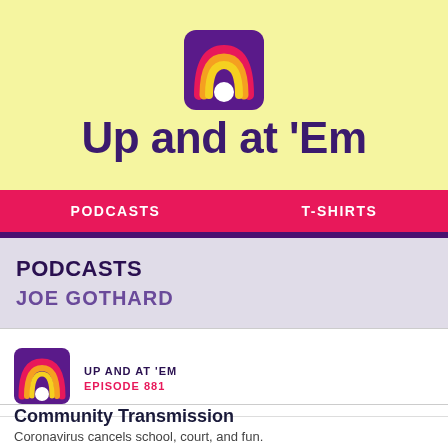[Figure (logo): Up and at Em podcast logo with rainbow arc icon above text]
Up and at 'Em
PODCASTS   T-SHIRTS
PODCASTS
JOE GOTHARD
[Figure (logo): Small rainbow arc logo for Up and at Em episode listing]
UP AND AT 'EM
EPISODE 881
Community Transmission
Coronavirus cancels school, court, and fun.